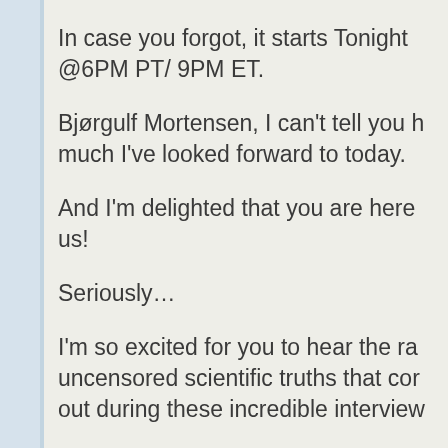In case you forgot, it starts Tonight @6PM PT/ 9PM ET.

Bjørgulf Mortensen, I can't tell you how much I've looked forward to today.

And I'm delighted that you are here with us!

Seriously…

I'm so excited for you to hear the raw, uncensored scientific truths that come out during these incredible interviews.

It's an honor to be able to bring this